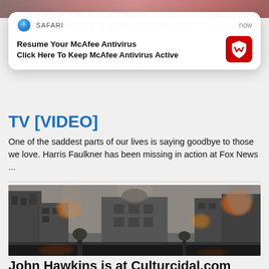[Figure (screenshot): Safari push notification popup: 'Resume Your McAfee Antivirus / Click Here To Keep McAfee Antivirus Active' with McAfee logo icon]
TV [VIDEO]
One of the saddest parts of our lives is saying goodbye to those we love. Harris Faulkner has been missing in action at Fox News ...
[Figure (photo): Dramatic post-apocalyptic city destruction scene with burning buildings and smoke]
John Hawkins is at Culturcidal.com